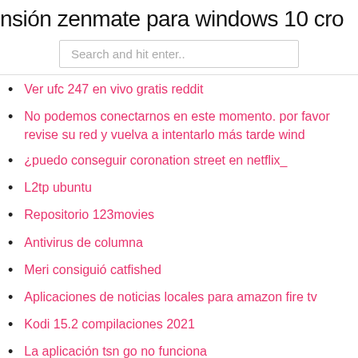nsión zenmate para windows 10 cro
Search and hit enter..
Ver ufc 247 en vivo gratis reddit
No podemos conectarnos en este momento. por favor revise su red y vuelva a intentarlo más tarde wind
¿puedo conseguir coronation street en netflix_
L2tp ubuntu
Repositorio 123movies
Antivirus de columna
Meri consiguió catfished
Aplicaciones de noticias locales para amazon fire tv
Kodi 15.2 compilaciones 2021
La aplicación tsn go no funciona